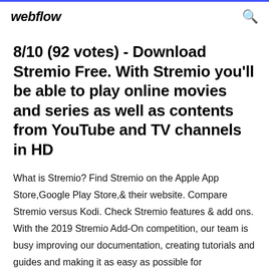webflow
8/10 (92 votes) - Download Stremio Free. With Stremio you'll be able to play online movies and series as well as contents from YouTube and TV channels in HD
What is Stremio? Find Stremio on the Apple App Store,Google Play Store,& their website. Compare Stremio versus Kodi. Check Stremio features & add ons. With the 2019 Stremio Add-On competition, our team is busy improving our documentation, creating tutorials and guides and making it as easy as possible for